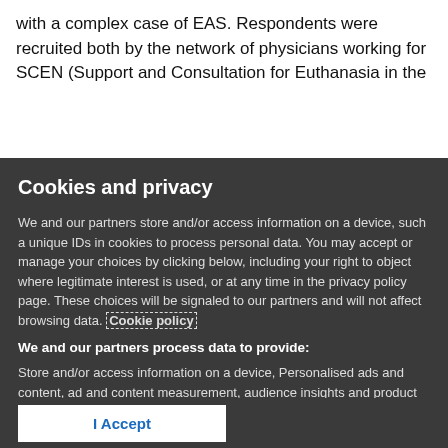with a complex case of EAS. Respondents were recruited both by the network of physicians working for SCEN (Support and Consultation for Euthanasia in the
Cookies and privacy
We and our partners store and/or access information on a device, such as unique IDs in cookies to process personal data. You may accept or manage your choices by clicking below, including your right to object where legitimate interest is used, or at any time in the privacy policy page. These choices will be signaled to our partners and will not affect browsing data. Cookie policy
We and our partners process data to provide:
Store and/or access information on a device, Personalised ads and content, ad and content measurement, audience insights and product development, Use precise geolocation data, Actively scan device characteristics for identification
List of Partners (vendors)
I Accept